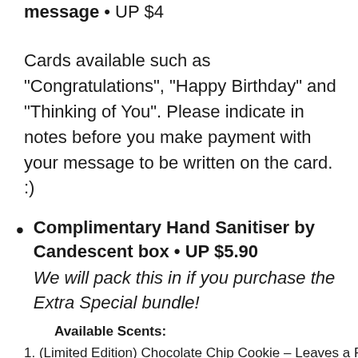message • UP $4
Cards available such as "Congratulations", "Happy Birthday" and "Thinking of You". Please indicate in notes before you make payment with your message to be written on the card. :)
Complimentary Hand Sanitiser by Candescent box • UP $5.90
We will pack this in if you purchase the Extra Special bundle!
Available Scents:
1. (Limited Edition) Chocolate Chip Cookie – Leaves a Rich...